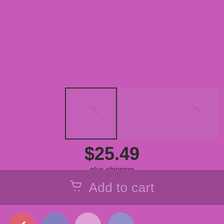[Figure (screenshot): Three product image thumbnail placeholders side by side, the leftmost selected with dark border, others with faint border. Loading icons visible in first and third thumbnails.]
$25.49
plus shipping
Add to cart
[Figure (other): Four color swatches: red (selected with checkmark), blue-gray, light pink, purple]
Color: red